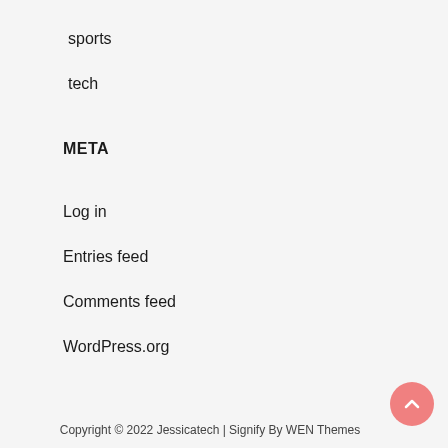sports
tech
META
Log in
Entries feed
Comments feed
WordPress.org
Copyright © 2022 Jessicatech | Signify By WEN Themes